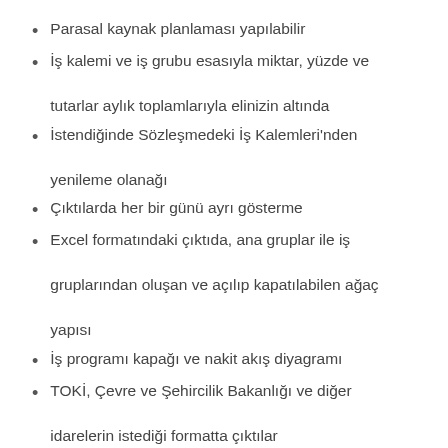Parasal kaynak planlaması yapılabilir
İş kalemi ve iş grubu esasıyla miktar, yüzde ve tutarlar aylık toplamlarıyla elinizin altında
İstendiğinde Sözleşmedeki İş Kalemleri'nden yenileme olanağı
Çıktılarda her bir günü ayrı gösterme
Excel formatındaki çıktıda, ana gruplar ile iş gruplarından oluşan ve açılıp kapatılabilen ağaç yapısı
İş programı kapağı ve nakit akış diyagramı
TOKİ, Çevre ve Şehircilik Bakanlığı ve diğer idarelerin istediği formatta çıktılar
Bu ve benzer onlarca özelliği ile benzersiz!